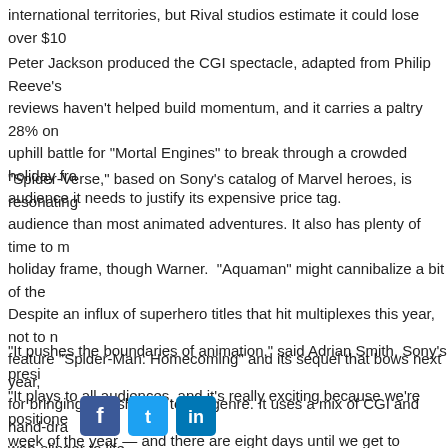international territories, but Rival studios estimate it could lose over $10...
Peter Jackson produced the CGI spectacle, adapted from Philip Reeve's... reviews haven't helped build momentum, and it carries a paltry 28% on... uphill battle for “Mortal Engines” to break through a crowded holiday fra... audience it needs to justify its expensive price tag.
“Spider-Verse,” based on Sony’s catalog of Marvel heroes, is resonating... audience than most animated adventures. It also has plenty of time to m... holiday frame, though Warner. “Aquaman” might cannibalize a bit of the... Despite an influx of superhero titles that hit multiplexes this year, not to m... feature “Spider-Man: Homecoming” and its sequel that bows next year, ... for bringing a fresh take to the genre. It uses a mix of CGI and hand-dra... web-slinger to life.
“It pushes the boundaries of animation,” said Adrian Smith, Sony’s presi... “It plays to all audiences, and it’s really exciting because we’re positione... week of the year — and there are eight days until we get to Christmas.”
[Figure (other): Social media share buttons: Facebook (blue), Twitter (light blue), LinkedIn (blue)]